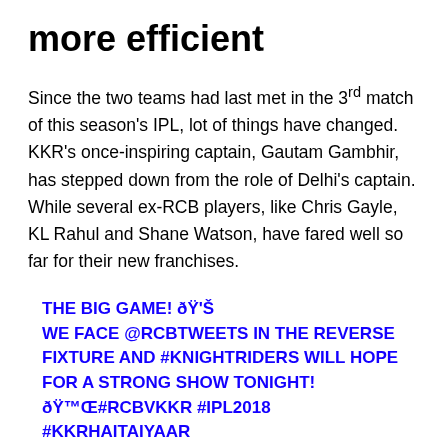more efficient
Since the two teams had last met in the 3rd match of this season's IPL, lot of things have changed. KKR's once-inspiring captain, Gautam Gambhir, has stepped down from the role of Delhi's captain. While several ex-RCB players, like Chris Gayle, KL Rahul and Shane Watson, have fared well so far for their new franchises.
THE BIG GAME! 🏆 WE FACE @RCBTWEETS IN THE REVERSE FIXTURE AND #KNIGHTRIDERS WILL HOPE FOR A STRONG SHOW TONIGHT! 🏏#RCBVKKR #IPL2018 #KKRHAITAIYAAR